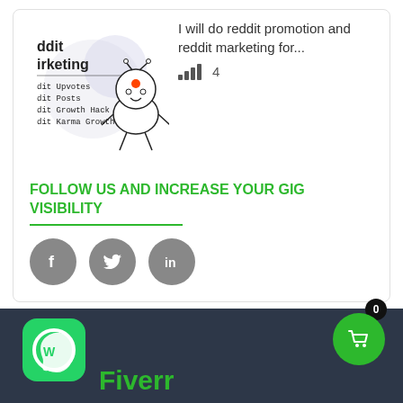[Figure (illustration): Reddit marketing promotional image with Reddit alien mascot and text listing Reddit Upvotes, Posts, Growth Hack, Karma Growth]
I will do reddit promotion and reddit marketing for...
[Figure (infographic): Signal bars icon with number 4]
FOLLOW US AND INCREASE YOUR GIG VISIBILITY
[Figure (infographic): Three social media icons: Facebook, Twitter, LinkedIn as grey circles with white icons]
[Figure (logo): WhatsApp icon and Fiverr logo in footer dark bar, with green shopping cart button and notification badge showing 0]